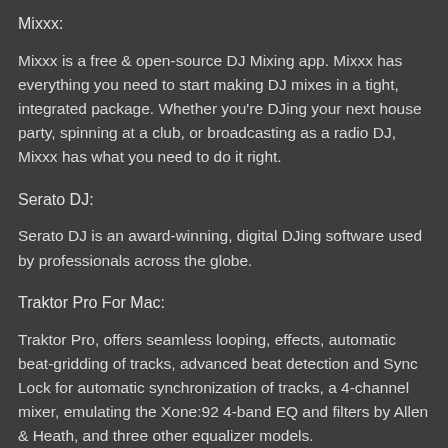Mixxx:
Mixxx is a free & open-source DJ Mixing app. Mixxx has everything you need to start making DJ mixes in a tight, integrated package. Whether you're DJing your next house party, spinning at a club, or broadcasting as a radio DJ, Mixxx has what you need to do it right.
Serato DJ:
Serato DJ is an award-winning, digital DJing software used by professionals across the globe.
Traktor Pro For Mac:
Traktor Pro, offers seamless looping, effects, automatic beat-gridding of tracks, advanced beat detection and Sync Lock for automatic synchronization of tracks, a 4-channel mixer, emulating the Xone:92 4-band EQ and filters by Allen & Heath, and three other equalizer models.
Cross DJ:
Mix, scratch, sample, record; rock great parties with top-DJ features